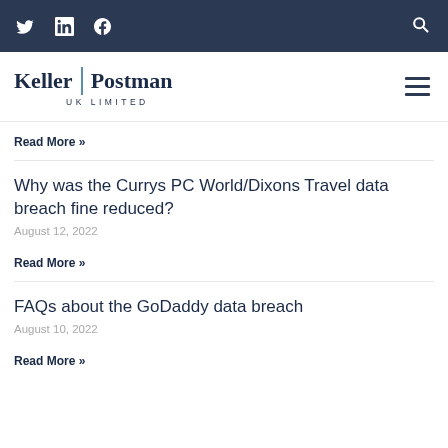Twitter LinkedIn Facebook [search icon]
[Figure (logo): Keller Postman UK Limited law firm logo with blue vertical divider between 'Keller' and 'Postman', and 'UK LIMITED' in small caps below]
Read More »
Why was the Currys PC World/Dixons Travel data breach fine reduced?
August 12, 2022
Read More »
FAQs about the GoDaddy data breach
August 10, 2022
Read More »